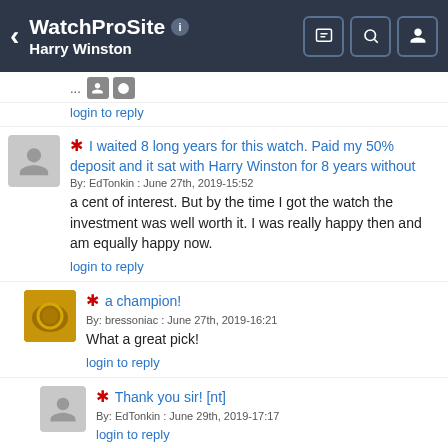WatchProSite — Harry Winston
... [icons] login to reply
* I waited 8 long years for this watch. Paid my 50% deposit and it sat with Harry Winston for 8 years without
By: EdTonkin : June 27th, 2019-15:52
a cent of interest. But by the time I got the watch the investment was well worth it. I was really happy then and am equally happy now.
login to reply
* a champion!
By: bressoniac : June 27th, 2019-16:21
What a great pick!
login to reply
* Thank you sir! [nt]
By: EdTonkin : June 29th, 2019-17:17
login to reply